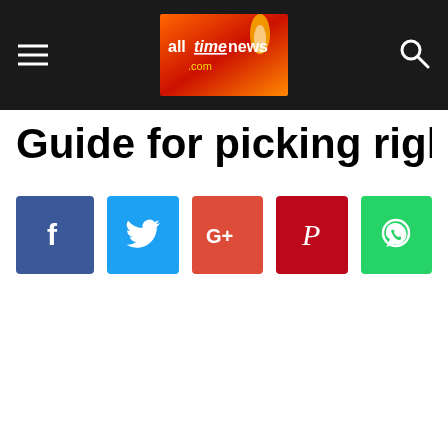alltimenews.com
Guide for picking right red lips
[Figure (other): Social sharing buttons: Facebook, Twitter, Google+, Pinterest, WhatsApp]